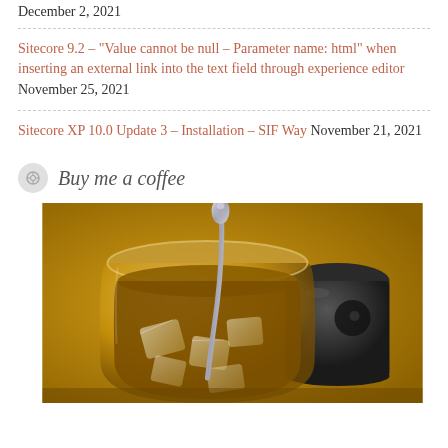December 2, 2021
Sitecore 9.2 – "Value cannot be null – Parameter name: html" when inserting an external link into the text field through experience editor November 25, 2021
Sitecore XP 10.0 Update 3 – Installation – SIF Way November 21, 2021
Buy me a coffee
[Figure (photo): A glass of iced coffee with a silver spoon, golden-brown liquid with ice cubes, and a dark coffee cup in the background on a warm golden surface.]